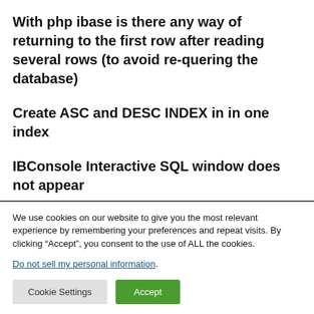With php ibase is there any way of returning to the first row after reading several rows (to avoid re-quering the database)
Create ASC and DESC INDEX in in one index
IBConsole Interactive SQL window does not appear
We use cookies on our website to give you the most relevant experience by remembering your preferences and repeat visits. By clicking “Accept”, you consent to the use of ALL the cookies.
Do not sell my personal information.